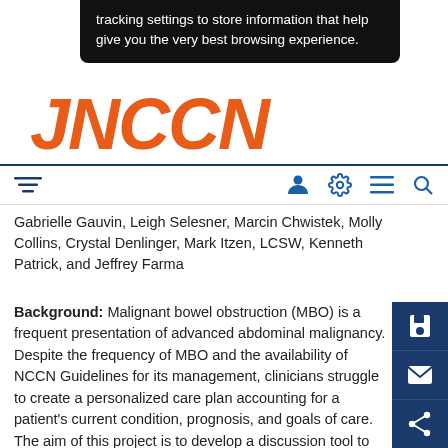tracking settings to store information that help give you the very best browsing experience.
JNCCN
Gabrielle Gauvin, Leigh Selesner, Marcin Chwistek, Molly Collins, Crystal Denlinger, Mark Itzen, LCSW, Kenneth Patrick, and Jeffrey Farma
Background: Malignant bowel obstruction (MBO) is a frequent presentation of advanced abdominal malignancy. Despite the frequency of MBO and the availability of NCCN Guidelines for its management, clinicians struggle to create a personalized care plan accounting for a patient's current condition, prognosis, and goals of care. The aim of this project is to develop a discussion tool to implement on admission to ensure realistic prognostication and appropriate involvement of the patient, caregivers, and multidisciplinary team in treatment decisions.